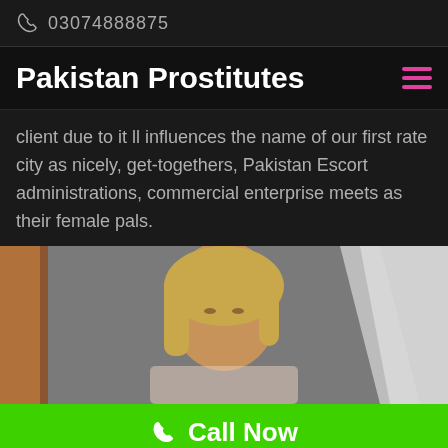03074888875
Pakistan Prostitutes
client due to it ll influences the name of our first rate city as nicely, get-togethers, Pakistan Escort administrations, commercial enterprise meets as their female pals.
[Figure (photo): Photo of a blonde woman standing against a grey wall, partially cropped]
Call Now